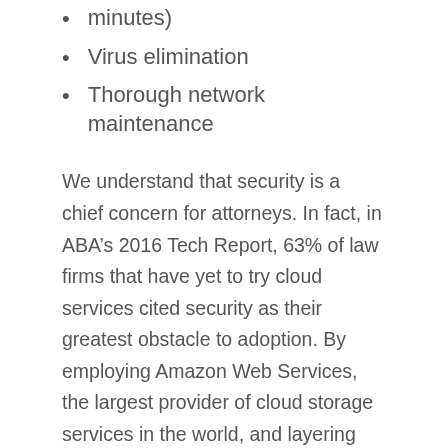minutes)
Virus elimination
Thorough network maintenance
We understand that security is a chief concern for attorneys. In fact, in ABA’s 2016 Tech Report, 63% of law firms that have yet to try cloud services cited security as their greatest obstacle to adoption. By employing Amazon Web Services, the largest provider of cloud storage services in the world, and layering our own technical expertise, we hope to put those concerns to rest. Moreover, we are always open to discussing any security-related questions or concerns.